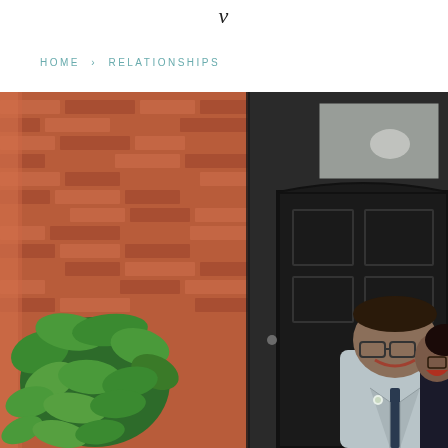v
HOME › RELATIONSHIPS
[Figure (photo): A couple laughing together in front of a black door and red brick wall with green plants. The man is wearing a light grey suit with glasses, the woman is in dark clothing. Outdoor urban setting.]